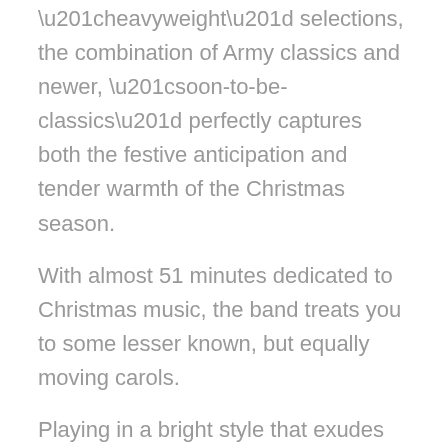“heavyweight” selections, the combination of Army classics and newer, “soon-to-be-classics” perfectly captures both the festive anticipation and tender warmth of the Christmas season.
With almost 51 minutes dedicated to Christmas music, the band treats you to some lesser known, but equally moving carols.
Playing in a bright style that exudes plenty of Yuletide spirit, the band also displays a sensitive side. Pieces such as the meditation “Who Is He” and the euphonium solo “Infant Holy” serve as gentle reminders of the true Christmas